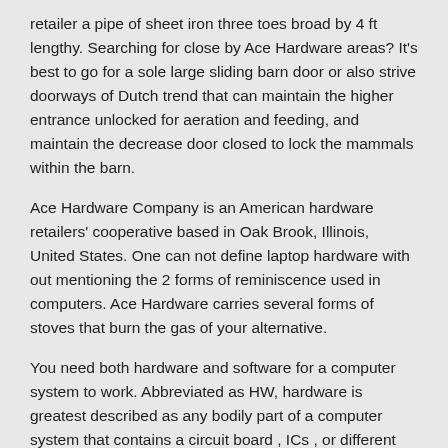retailer a pipe of sheet iron three toes broad by 4 ft lengthy. Searching for close by Ace Hardware areas? It's best to go for a sole large sliding barn door or also strive doorways of Dutch trend that can maintain the higher entrance unlocked for aeration and feeding, and maintain the decrease door closed to lock the mammals within the barn.
Ace Hardware Company is an American hardware retailers' cooperative based in Oak Brook, Illinois, United States. One can not define laptop hardware with out mentioning the 2 forms of reminiscence used in computers. Ace Hardware carries several forms of stoves that burn the gas of your alternative.
You need both hardware and software for a computer system to work. Abbreviated as HW, hardware is greatest described as any bodily part of a computer system that contains a circuit board , ICs , or different electronics. It is geared toward LAPTOP hardware fanatics, players, and early adopters, covering topics resembling modding, overclocking, and LAPTOP gaming.
Ipods, smartphones, Iphones, cellphones, blackberries-these devices